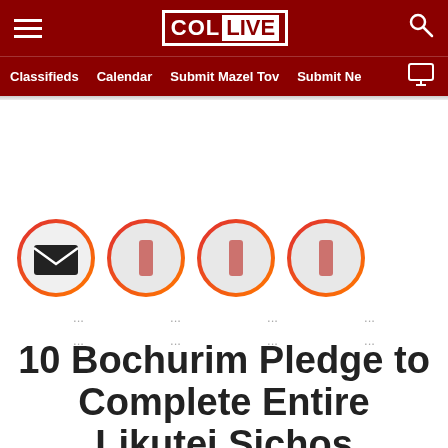COL LIVE — Classifieds | Calendar | Submit Mazel Tov | Submit Ne
[Figure (infographic): Row of five circular social share buttons with email/share icons and ellipsis labels below each]
10 Bochurim Pledge to Complete Entire Likutei Sichos